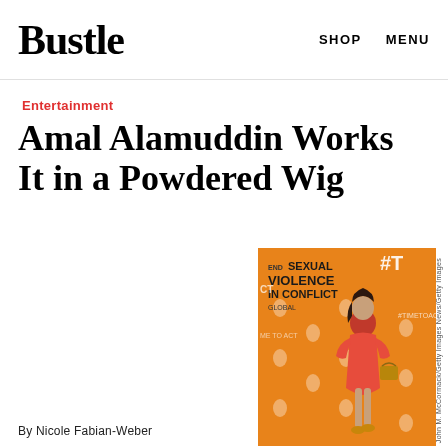Bustle   SHOP   MENU
Entertainment
Amal Alamuddin Works It in a Powdered Wig
[Figure (photo): Woman in red/orange dress standing in front of an orange backdrop reading 'END SEXUAL VIOLENCE IN CONFLICT' with hashtag #T visible, holding a brown bag]
By Nicole Fabian-Weber